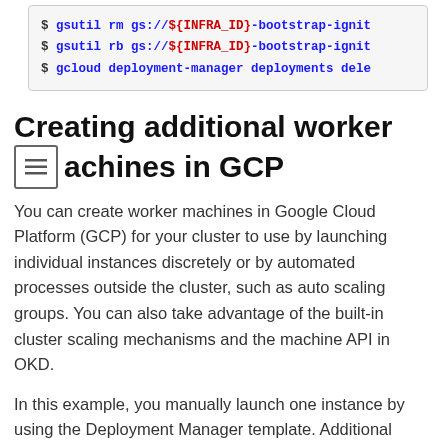$ gsutil rm gs://${INFRA_ID}-bootstrap-ignit
$ gsutil rb gs://${INFRA_ID}-bootstrap-ignit
$ gcloud deployment-manager deployments dele
Creating additional worker machines in GCP
You can create worker machines in Google Cloud Platform (GCP) for your cluster to use by launching individual instances discretely or by automated processes outside the cluster, such as auto scaling groups. You can also take advantage of the built-in cluster scaling mechanisms and the machine API in OKD.
In this example, you manually launch one instance by using the Deployment Manager template. Additional